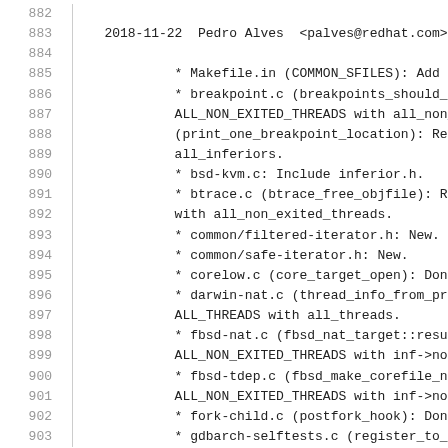882
883    2018-11-22  Pedro Alves  <palves@redhat.com>
884
885            * Makefile.in (COMMON_SFILES): Add thr
886            * breakpoint.c (breakpoints_should_be_
887            ALL_NON_EXITED_THREADS with all_non_ex
888            (print_one_breakpoint_location): Repla
889            all_inferiors.
890            * bsd-kvm.c: Include inferior.h.
891            * btrace.c (btrace_free_objfile): Repl
892            with all_non_exited_threads.
893            * common/filtered-iterator.h: New.
894            * common/safe-iterator.h: New.
895            * corelow.c (core_target_open): Don't
896            * darwin-nat.c (thread_info_from_priva
897            ALL_THREADS with all_threads.
898            * fbsd-nat.c (fbsd_nat_target::resume)
899            ALL_NON_EXITED_THREADS with inf->non_e
900            * fbsd-tdep.c (fbsd_make_corefile_note
901            ALL_NON_EXITED_THREADS with inf->non_e
902            * fork-child.c (postfork_hook): Don't
903            * gdbarch-selftests.c (register_to_val